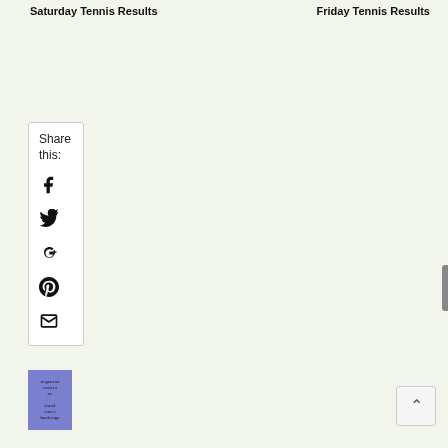Saturday Tennis Results
Friday Tennis Results
Share this:
[Figure (illustration): Social share widget with icons for Facebook, Twitter, Google+, Pinterest, and Email]
[Figure (screenshot): Small thumbnail image with blue/purple background and text]